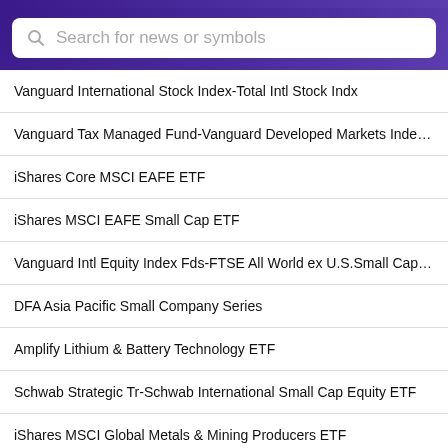[Figure (screenshot): Search bar with purple gradient background and white search input box with placeholder text 'Search for news or symbols']
Vanguard International Stock Index-Total Intl Stock Indx
Vanguard Tax Managed Fund-Vanguard Developed Markets Index Fu
iShares Core MSCI EAFE ETF
iShares MSCI EAFE Small Cap ETF
Vanguard Intl Equity Index Fds-FTSE All World ex U.S.Small Cap Index
DFA Asia Pacific Small Company Series
Amplify Lithium & Battery Technology ETF
Schwab Strategic Tr-Schwab International Small Cap Equity ETF
iShares MSCI Global Metals & Mining Producers ETF
DFA International Core Equity Portfolio
Vanguard International Stock Index-Pacific Stock Index